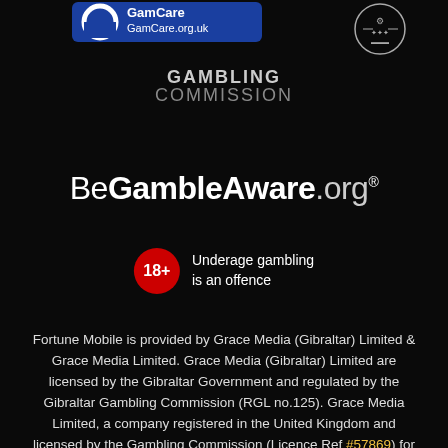[Figure (logo): GamCare logo with blue arc and text GamCare.org.uk on blue background]
[Figure (logo): Heraldic crest/coat of arms emblem in white]
[Figure (logo): Gambling Commission text logo in grey/white]
[Figure (logo): BeGambleAware.org logo with registered trademark symbol]
[Figure (infographic): 18+ red circle badge with text 'Underage gambling is an offence']
Fortune Mobile is provided by Grace Media (Gibraltar) Limited & Grace Media Limited. Grace Media (Gibraltar) Limited are licensed by the Gibraltar Government and regulated by the Gibraltar Gambling Commission (RGL no.125). Grace Media Limited, a company registered in the United Kingdom and licensed by the Gambling Commission (Licence Ref #57869) for customers in Great Britain. The gambling software is powered by Markor Technology, licensed, and regulated by the UK Gambling Commission (Ref #41645) and by the Gibraltar Gambling Commission